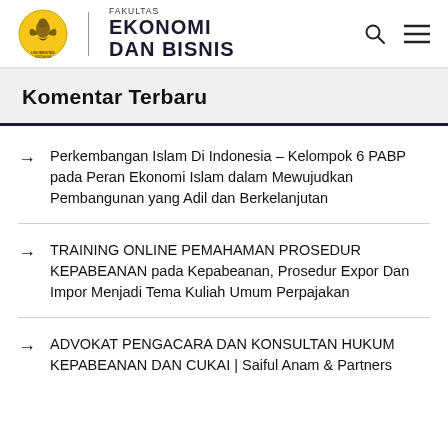FAKULTAS EKONOMI DAN BISNIS
Komentar Terbaru
Perkembangan Islam Di Indonesia – Kelompok 6 PABP pada Peran Ekonomi Islam dalam Mewujudkan Pembangunan yang Adil dan Berkelanjutan
TRAINING ONLINE PEMAHAMAN PROSEDUR KEPABEANAN pada Kepabeanan, Prosedur Expor Dan Impor Menjadi Tema Kuliah Umum Perpajakan
ADVOKAT PENGACARA DAN KONSULTAN HUKUM KEPABEANAN DAN CUKAI | Saiful Anam & Partners